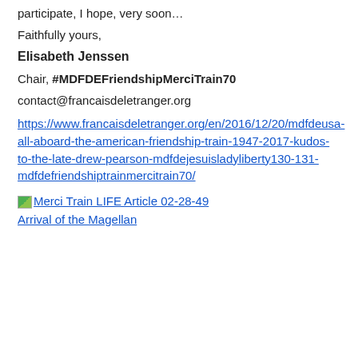participate, I hope, very soon…
Faithfully yours,
Elisabeth Jenssen
Chair, #MDFDEFriendshipMerciTrain70
contact@francaisdeletranger.org
https://www.francaisdeletranger.org/en/2016/12/20/mdfdeusa-all-aboard-the-american-friendship-train-1947-2017-kudos-to-the-late-drew-pearson-mdfdejesuisladyliberty130-131-mdfdefriendshiptrainmercitrain70/
Merci Train LIFE Article 02-28-49 Arrival of the Magellan